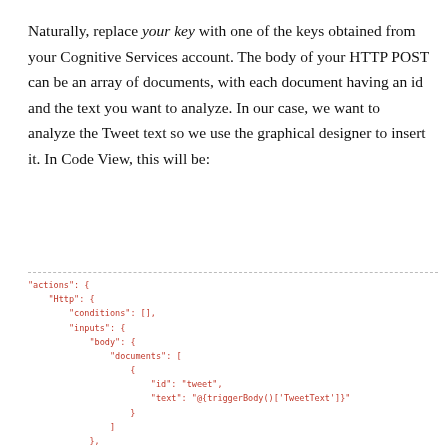Naturally, replace your key with one of the keys obtained from your Cognitive Services account. The body of your HTTP POST can be an array of documents, with each document having an id and the text you want to analyze. In our case, we want to analyze the Tweet text so we use the graphical designer to insert it. In Code View, this will be:
[Figure (screenshot): Code block showing JSON structure for HTTP POST action with actions, Http, conditions, inputs, body, documents array containing id and text fields, headers with Content-Type and Ocp-Apim-Subscription-Key, method POST, and uri pointing to westus.api.cognitive.microsoft.com/text/analytics/v2.0]